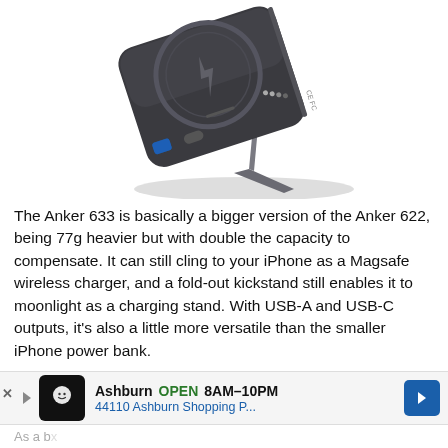[Figure (photo): Product photo of the Anker 633 magnetic wireless power bank with fold-out kickstand, dark gray color, shown at an angle against white background]
The Anker 633 is basically a bigger version of the Anker 622, being 77g heavier but with double the capacity to compensate. It can still cling to your iPhone as a Magsafe wireless charger, and a fold-out kickstand still enables it to moonlight as a charging stand. With USB-A and USB-C outputs, it's also a little more versatile than the smaller iPhone power bank.
[Figure (screenshot): Advertisement banner for a local business: Ashburn OPEN 8AM-10PM, 44110 Ashburn Shopping P...]
As a b...